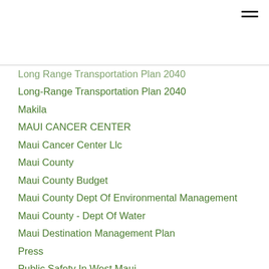Long Range Transportation Plan 2040
Long-Range Transportation Plan 2040
Makila
MAUI CANCER CENTER
Maui Cancer Center Llc
Maui County
Maui County Budget
Maui County Dept Of Environmental Management
Maui County - Dept Of Water
Maui Destination Management Plan
Press
Public Safety In West Maui
Real Property Tax
Recycling Info
TAT
Tax
Tourism